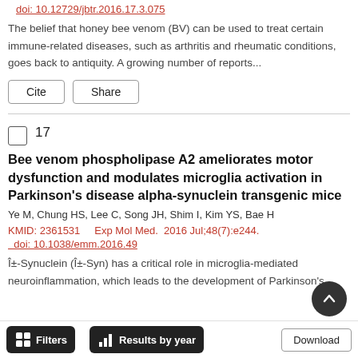doi: 10.12729/jbtr.2016.17.3.075
The belief that honey bee venom (BV) can be used to treat certain immune-related diseases, such as arthritis and rheumatic conditions, goes back to antiquity. A growing number of reports...
Cite   Share
17
Bee venom phospholipase A2 ameliorates motor dysfunction and modulates microglia activation in Parkinson's disease alpha-synuclein transgenic mice
Ye M, Chung HS, Lee C, Song JH, Shim I, Kim YS, Bae H
KMID: 2361531    Exp Mol Med.  2016 Jul;48(7):e244.
doi: 10.1038/emm.2016.49
Î±-Synuclein (Î±-Syn) has a critical role in microglia-mediated neuroinflammation, which leads to the development of Parkinson's
Filters   Results by year   Download